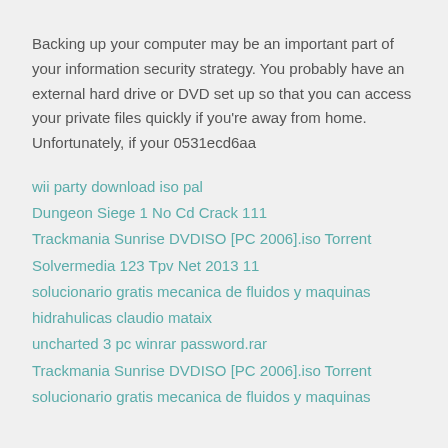Backing up your computer may be an important part of your information security strategy. You probably have an external hard drive or DVD set up so that you can access your private files quickly if you're away from home. Unfortunately, if your 0531ecd6aa
wii party download iso pal
Dungeon Siege 1 No Cd Crack 111
Trackmania Sunrise DVDISO [PC 2006].iso Torrent
Solvermedia 123 Tpv Net 2013 11
solucionario gratis mecanica de fluidos y maquinas hidrahulicas claudio mataix
uncharted 3 pc winrar password.rar
Trackmania Sunrise DVDISO [PC 2006].iso Torrent
solucionario gratis mecanica de fluidos y maquinas hidrahulicas claudio mataix